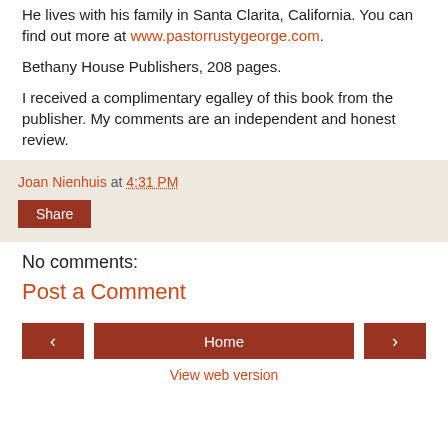He lives with his family in Santa Clarita, California. You can find out more at www.pastorrustygeorge.com.
Bethany House Publishers, 208 pages.
I received a complimentary egalley of this book from the publisher. My comments are an independent and honest review.
Joan Nienhuis at 4:31 PM
Share
No comments:
Post a Comment
Home
View web version